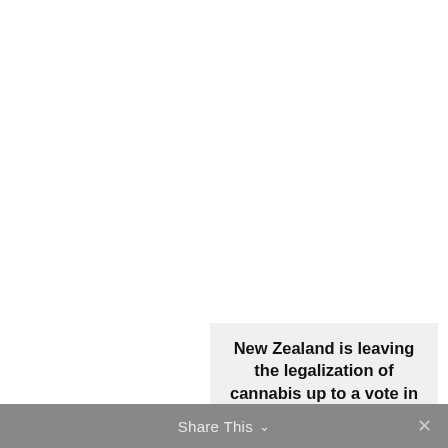New Zealand is leaving the legalization of cannabis up to a vote in the 2020 General Election.
Share This ∨  ✕